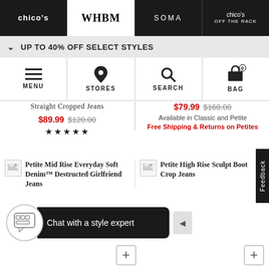chico's | WHBM | SOMA | chico's OFF THE RACK
UP TO 40% OFF SELECT STYLES
MENU | STORES | SEARCH | BAG 0
Straight Cropped Jeans $89.99 $120.00 ★★★★★
$79.99 $160.00 Available in Classic and Petite Free Shipping & Returns on Petites
Petite Mid Rise Everyday Soft Denim™ Destructed Girlfriend Jeans
Petite High Rise Sculpt Boot Crop Jeans
Chat with a style expert